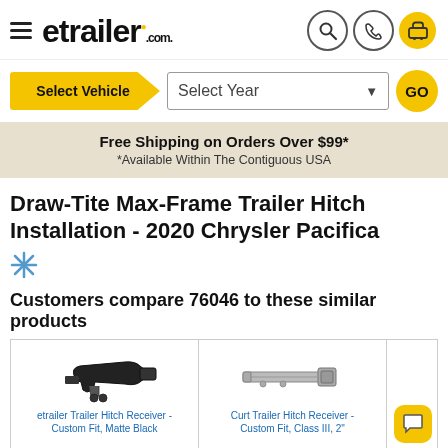[Figure (logo): etrailer.com logo with hamburger menu and header icons (search, phone, cart)]
[Figure (other): Vehicle selector bar with 'Select Vehicle' yellow button, 'Select Year' dropdown, and yellow GO button]
Free Shipping on Orders Over $99*
*Available Within The Contiguous USA
Draw-Tite Max-Frame Trailer Hitch Installation - 2020 Chrysler Pacifica
[Figure (other): Blue asterisk/snowflake icon]
Customers compare 76046 to these similar products
[Figure (other): Product comparison row showing three product cells: etrailer Trailer Hitch Receiver - Custom Fit, Matte Black; Curt Trailer Hitch Receiver - Custom Fit, Class III, 2-inch; third product partially visible with yellow chat bubble]
etrailer Trailer Hitch Receiver - Custom Fit, Matte Black
Curt Trailer Hitch Receiver - Custom Fit, Class III, 2"